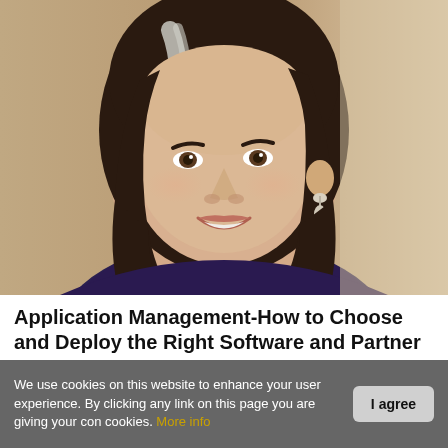[Figure (photo): Portrait photo of a middle-aged woman with dark shoulder-length hair with gray streaks, wearing drop earrings and a dark top, smiling, against a tan/brown blurred background.]
Application Management-How to Choose and Deploy the Right Software and Partner
We use cookies on this website to enhance your user experience. By clicking any link on this page you are giving your con cookies. More info